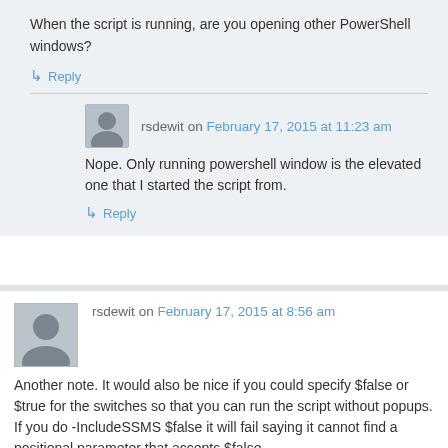When the script is running, are you opening other PowerShell windows?
↳ Reply
rsdewit on February 17, 2015 at 11:23 am
Nope. Only running powershell window is the elevated one that I started the script from.
↳ Reply
rsdewit on February 17, 2015 at 8:56 am
Another note. It would also be nice if you could specify $false or $true for the switches so that you can run the script without popups. If you do -IncludeSSMS $false it will fail saying it cannot find a positional parameter that accepts $false.
As a sidenote, it would also be nice if you could specify a submenu option from the script for -InitialMenuOption. Now you can't have a non-interactive option like option 50.